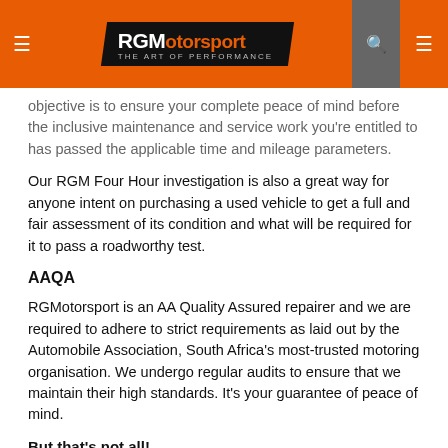RGMotorsport - The Art of Performance
objective is to ensure your complete peace of mind before the inclusive maintenance and service work you're entitled to has passed the applicable time and mileage parameters.
Our RGM Four Hour investigation is also a great way for anyone intent on purchasing a used vehicle to get a full and fair assessment of its condition and what will be required for it to pass a roadworthy test.
AAQA
RGMotorsport is an AA Quality Assured repairer and we are required to adhere to strict requirements as laid out by the Automobile Association, South Africa's most-trusted motoring organisation. We undergo regular audits to ensure that we maintain their high standards. It's your guarantee of peace of mind.
But that's not all!
• RGM provides a vehicle collection and delivery service to all our clients in the surrounding areas.
• We have a fully-equipped engine rebuilding facility where anything from basic rebuilds to state-of-the-art balanced and